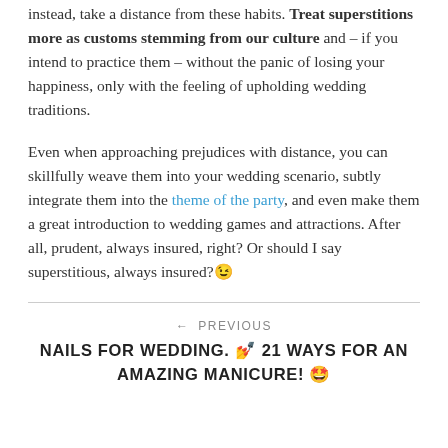instead, take a distance from these habits. Treat superstitions more as customs stemming from our culture and – if you intend to practice them – without the panic of losing your happiness, only with the feeling of upholding wedding traditions.
Even when approaching prejudices with distance, you can skillfully weave them into your wedding scenario, subtly integrate them into the theme of the party, and even make them a great introduction to wedding games and attractions. After all, prudent, always insured, right? Or should I say superstitious, always insured?😉
← PREVIOUS
NAILS FOR WEDDING. 💅 21 WAYS FOR AN AMAZING MANICURE! 🤩